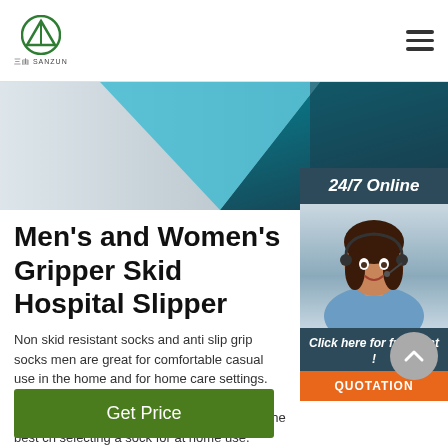三由 SANZUN logo and hamburger menu
[Figure (illustration): Banner with blue, grey, and dark geometric shapes — a website header banner image]
[Figure (illustration): 24/7 Online chat widget with photo of woman wearing headset, 'Click here for free chat!' text, and orange QUOTATION button]
Men's and Women's Gripper Skid Hospital Slipper
Non skid resistant socks and anti slip grip socks men are great for comfortable casual use in the home and for home care settings. Concerned about slipping socks on tile or hardwood floors skid socks with grips make the best ch selecting a sock for at home use.
Get Price